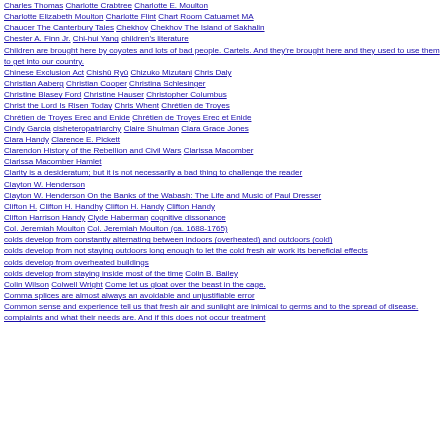Charles Thomas Charlotte Crabtree Charlotte E. Moulton
Charlotte Elizabeth Moulton Charlotte Flint Chart Room Catuamet MA
Chaucer The Canterbury Tales Chekhov Chekhov The Island of Sakhalin
Chester A. Finn Jr. Chi-hui Yang children's literature
Children are brought here by coyotes and lots of bad people. Cartels. And they're brought here and they used to use them to get into our country.
Chinese Exclusion Act Chishū Ryū Chizuko Mizutani Chris Daly
Christian Aaberg Christian Cooper Christina Schlesinger
Christine Blasey Ford Christine Hauser Christopher Columbus
Christ the Lord Is Risen Today Chris Whent Chrétien de Troyes
Chrétien de Troyes Erec and Enide Chrétien de Troyes Erec et Enide
Cindy Garcia cisheteropatriarchy Claire Shulman Clara Grace Jones
Clara Handy Clarence E. Pickett
Clarendon History of the Rebellion and Civil Wars Clarissa Macomber
Clarissa Macomber Hamlet
Clarity is a desideratum; but it is not necessarily a bad thing to challenge the reader
Clayton W. Henderson
Clayton W. Henderson On the Banks of the Wabash: The Life and Music of Paul Dresser
Clifton H. Clifton H. Handhy Clifton H. Handy Clifton Handy
Clifton Harrison Handy Clyde Haberman cognitive dissonance
Col. Jeremiah Moulton Col. Jeremiah Moulton (ca. 1688-1765)
colds develop from constantly alternating between indoors (overheated) and outdoors (cold)
colds develop from not staying outdoors long enough to let the cold fresh air work its beneficial effects
colds develop from overheated buildings
colds develop from staying inside most of the time Colin B. Bailey
Colin Wilson Colwell Wright Come let us gloat over the beast in the cage.
Comma splices are almost always an avoidable and unjustifiable error
Common sense and experience tell us that fresh air and sunlight are inimical to germs and to the spread of disease.
complaints and what their needs are. And if this does not occur treatment